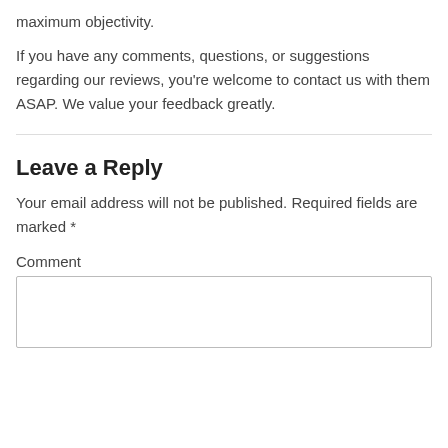maximum objectivity.
If you have any comments, questions, or suggestions regarding our reviews, you're welcome to contact us with them ASAP. We value your feedback greatly.
Leave a Reply
Your email address will not be published. Required fields are marked *
Comment